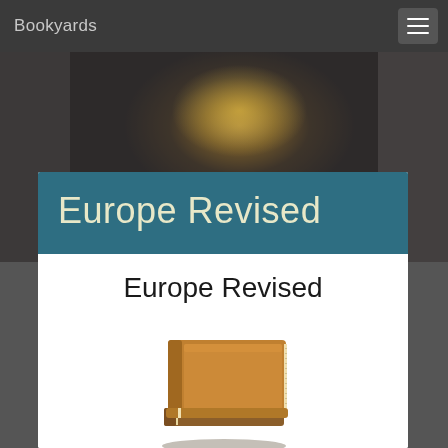Bookyards
[Figure (photo): Dark blurred background photo showing a dim room/corridor with warm yellow-orange light in the center]
Europe Revised
Europe Revised
[Figure (illustration): Brown leather-bound book stack icon illustration]